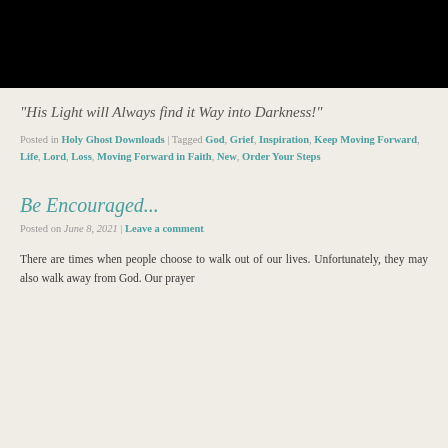[Figure (photo): Black rectangular image at the top of the page]
“His Light will Always find it Way into Darkness!”
Posted in Holy Ghost Downloads | Tagged God, Grief, Inspiration, Keep Moving Forward, Life, Lord, Loss, Moving Forward in Faith, New, Order Your Steps
Be Encouraged...
Posted on June 8, 2021 | Leave a comment
There are times when people choose to walk out of our lives. Unfortunately, they may also walk away from God. Our prayer